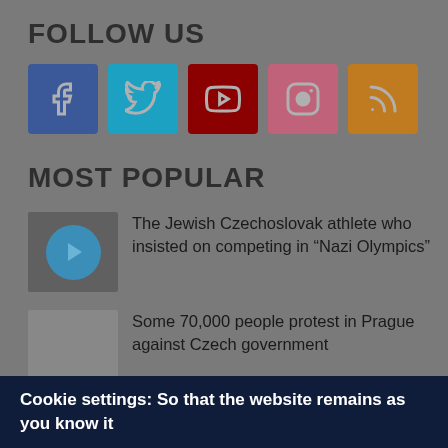FOLLOW US
[Figure (infographic): Row of 5 social media icon buttons: Facebook (blue), Twitter (teal), YouTube (dark red), Instagram (pink), RSS (orange/brown)]
MOST POPULAR
The Jewish Czechoslovak athlete who insisted on competing in “Nazi Olympics”
Some 70,000 people protest in Prague against Czech government
Cookie settings: So that the website remains as you know it